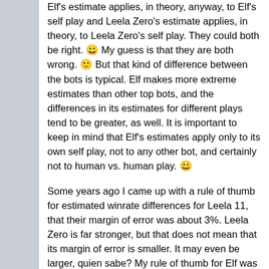Elf's estimate applies, in theory, anyway, to Elf's self play and Leela Zero's estimate applies, in theory, to Leela Zero's self play. They could both be right. 😀 My guess is that they are both wrong. 🙂 But that kind of difference between the bots is typical. Elf makes more extreme estimates than other top bots, and the differences in its estimates for different plays tend to be greater, as well. It is important to keep in mind that Elf's estimates apply only to its own self play, not to any other bot, and certainly not to human vs. human play. 😀
Some years ago I came up with a rule of thumb for estimated winrate differences for Leela 11, that their margin of error was about 3%. Leela Zero is far stronger, but that does not mean that its margin of error is smaller. It may even be larger, quien sabe? My rule of thumb for Elf was...